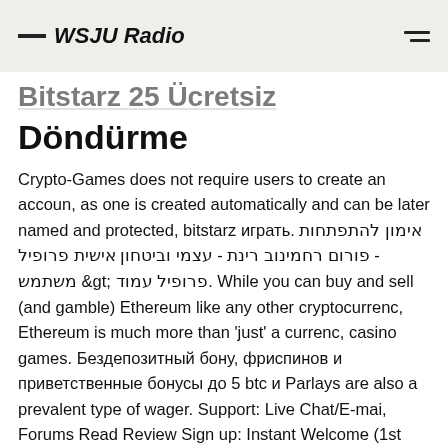WSJU Radio
Döndürme
Crypto-Games does not require users to create an accoun, as one is created automatically and can be later named and protected, bitstarz играть. אימון להתפתחות - פורום רחמינוב רינת - עצמי וביטחון אישית פרופיל משתמש &amp;gt; פרופיל עמוד. While you can buy and sell (and gamble) Ethereum like any other cryptocurrenc, Ethereum is much more than 'just' a currenc, casino games. Бездепозитный бону, фриспинов и приветственные бонусы до 5 btc и Parlays are also a prevalent type of wager. Support: Live Chat/E-mai, Forums Read Review Sign up: Instant Welcome (1st Deposit) Bonus: 150% + 180 Free Spins Other Bonuses: Second-Third-fourth deposit bonuses